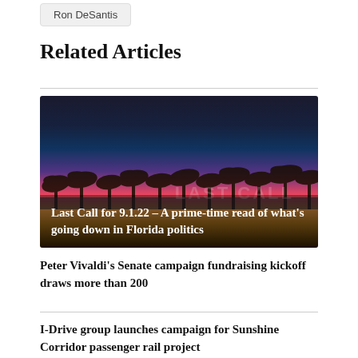Ron DeSantis
Related Articles
[Figure (photo): Dark night sky with palm tree silhouettes and colorful sunset/dusk sky, overlaid with text 'Last Call for 9.1.22 – A prime-time read of what's going down in Florida politics']
Peter Vivaldi's Senate campaign fundraising kickoff draws more than 200
I-Drive group launches campaign for Sunshine Corridor passenger rail project